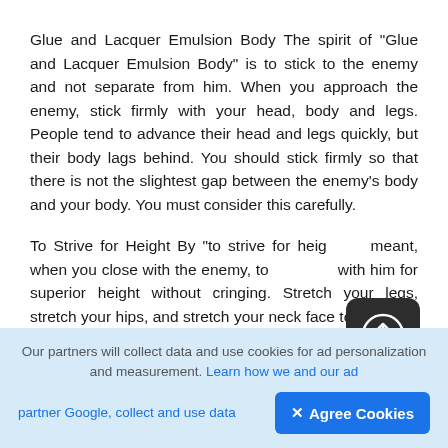Glue and Lacquer Emulsion Body The spirit of "Glue and Lacquer Emulsion Body" is to stick to the enemy and not separate from him. When you approach the enemy, stick firmly with your head, body and legs. People tend to advance their head and legs quickly, but their body lags behind. You should stick firmly so that there is not the slightest gap between the enemy's body and your body. You must consider this carefully.
To Strive for Height By "to strive for height" is meant, when you close with the enemy, to compete with him for superior height without cringing. Stretch your legs, stretch your hips, and stretch your neck face to face with him. When you think...
[Figure (other): Dark rounded square button with a circled upload/arrow icon in white]
Our partners will collect data and use cookies for ad personalization and measurement. Learn how we and our ad partner Google, collect and use data
✕ Agree Cookies